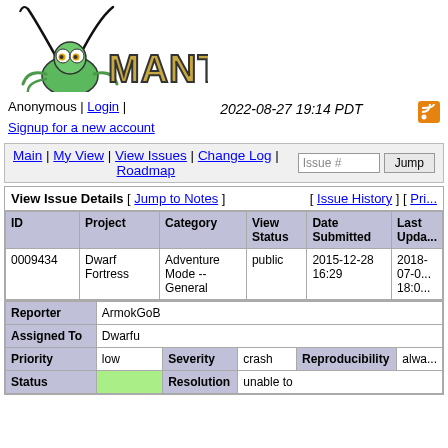[Figure (logo): Mantis Bug Tracker logo with praying mantis cartoon and MANTIS text]
Anonymous | Login | Signup for a new account    2022-08-27 19:14 PDT
Main | My View | View Issues | Change Log | Roadmap   Issue # [Jump]
View Issue Details [ Jump to Notes ]   [ Issue History ] [ Pri... ]
| ID | Project | Category | View Status | Date Submitted | Last Upda... |
| --- | --- | --- | --- | --- | --- |
| 0009434 | Dwarf Fortress | Adventure Mode -- General | public | 2015-12-28 16:29 | 2018-07-0... 18:0... |
| Reporter | Assigned To | Priority | Severity | Reproducibility | Status | Resolution |
| --- | --- | --- | --- | --- | --- | --- |
| ArmokGoB |  |  |  |  |  |  |
|  | Dwarfu |  |  |  |  |  |
|  |  | low | crash | alwa... |  |  |
|  |  |  |  |  |  | unable to |